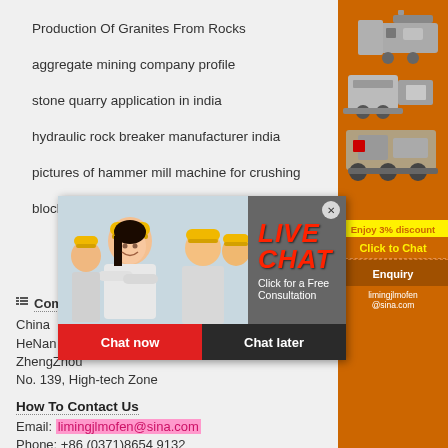Production Of Granites From Rocks
aggregate mining company profile
stone quarry application in india
hydraulic rock breaker manufacturer india
pictures of hammer mill machine for crushing
block making machine in jamaica
[Figure (photo): Live Chat popup overlay with workers in hard hats, red LIVE CHAT title, Chat now and Chat later buttons]
[Figure (photo): Right sidebar with orange background showing mining/crushing machines, discount banner, enquiry section and email contact]
Company
China
HeNan
ZhengZhou
No. 139, High-tech Zone
How To Contact Us
Email: limingjlmofen@sina.com
Phone: +86 (0371)8654 9132